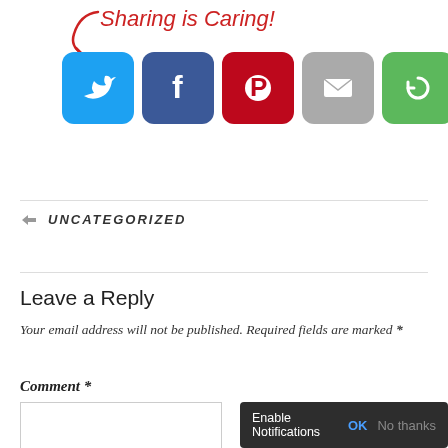[Figure (infographic): Sharing is Caring social share buttons: Twitter (blue), Facebook (dark blue), Pinterest (red), Email (grey), Share/Refresh (green), with red handwritten text 'Sharing is Caring!' and red arrow]
UNCATEGORIZED
Leave a Reply
Your email address will not be published. Required fields are marked *
Comment *
[Figure (screenshot): Browser notification prompt bar with text 'Enable Notifications', 'OK' button in blue, and 'No thanks' button in grey, on dark background]